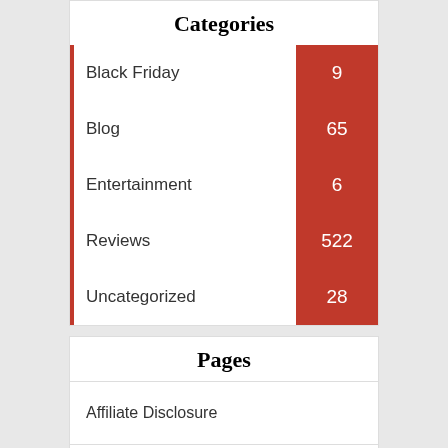Categories
Black Friday 9
Blog 65
Entertainment 6
Reviews 522
Uncategorized 28
Pages
Affiliate Disclosure
Contact Us
Privacy Policy
Write For Us